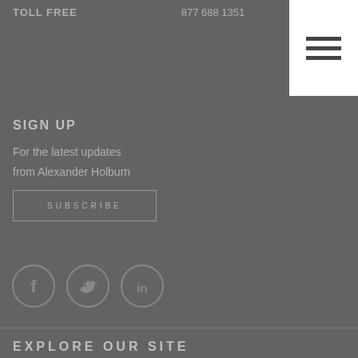TOLL FREE   877 688 1351
[Figure (other): Hamburger menu icon with three horizontal lines on white background]
SIGN UP
For the latest updates from Alexander Holburn
SUBSCRIBE
[Figure (other): Social media icons: Facebook, Twitter, LinkedIn in circles]
EXPLORE OUR SITE